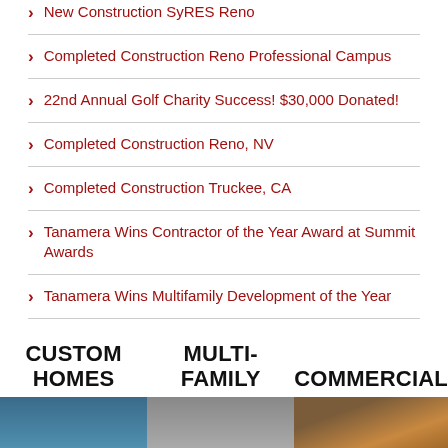New Construction SyRES Reno
Completed Construction Reno Professional Campus
22nd Annual Golf Charity Success! $30,000 Donated!
Completed Construction Reno, NV
Completed Construction Truckee, CA
Tanamera Wins Contractor of the Year Award at Summit Awards
Tanamera Wins Multifamily Development of the Year
CUSTOM HOMES
MULTI-FAMILY
COMMERCIAL